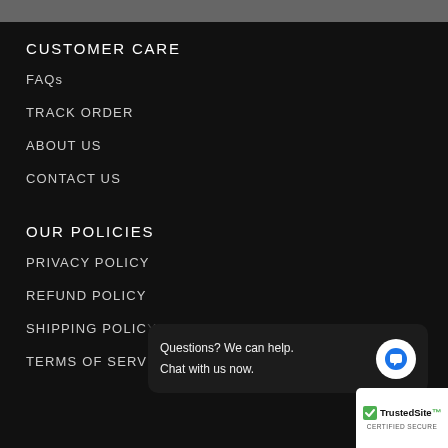CUSTOMER CARE
FAQs
TRACK ORDER
ABOUT US
CONTACT US
OUR POLICIES
PRIVACY POLICY
REFUND POLICY
SHIPPING POLICY
TERMS OF SERVICE
Questions? We can help.
Chat with us now.
[Figure (logo): TrustedSite Certified Secure badge]